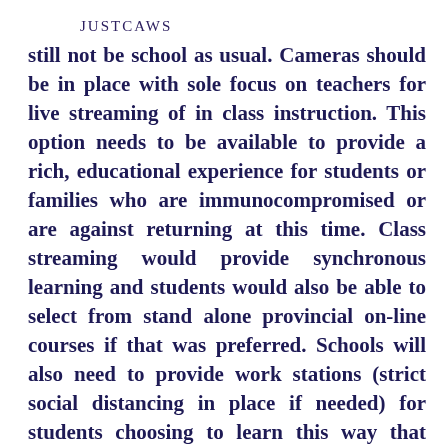JUSTCAWS
still not be school as usual. Cameras should be in place with sole focus on teachers for live streaming of in class instruction. This option needs to be available to provide a rich, educational experience for students or families who are immunocompromised or are against returning at this time. Class streaming would provide synchronous learning and students would also be able to select from stand alone provincial on-line courses if that was preferred. Schools will also need to provide work stations (strict social distancing in place if needed) for students choosing to learn this way that require tech support not available at home. School portables would be